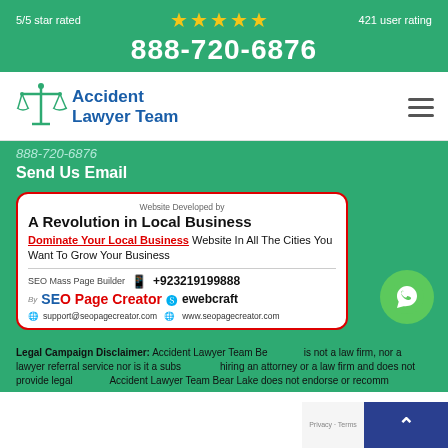5/5 star rated ★★★★★ 421 user rating
888-720-6876
[Figure (logo): Accident Lawyer Team logo with scales of justice icon]
888-720-6876
Send Us Email
[Figure (infographic): Website Developed by A Revolution in Local Business - Dominate Your Local Business Website In All The Cities You Want To Grow Your Business. SEO Mass Page Builder +923219199888. By SEO Page Creator. Skype: ewebcraft. support@seopagecreator.com www.seopagecreator.com]
Legal Campaign Disclaimer: Accident Lawyer Team Bear Lake is not a law firm, nor a lawyer referral service nor is it a substitute for hiring an attorney or a law firm and does not provide legal advice. Accident Lawyer Team Bear Lake does not endorse or recommend any particular attorney.